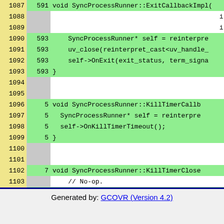| Line | Count | Code |
| --- | --- | --- |
| 1087 | 591 | void SyncProcessRunner::ExitCallbackImpl(… |
| 1088 |  | i |
| 1089 |  | i |
| 1090 | 593 | SyncProcessRunner* self = reinterpre… |
| 1091 | 593 | uv_close(reinterpret_cast<uv_handle_… |
| 1092 | 593 | self->OnExit(exit_status, term_signa… |
| 1093 | 593 | } |
| 1094 |  |  |
| 1095 |  |  |
| 1096 | 5 | void SyncProcessRunner::KillTimerCallb… |
| 1097 | 5 | SyncProcessRunner* self = reinterpre… |
| 1098 | 5 | self->OnKillTimerTimeout(); |
| 1099 | 5 | } |
| 1100 |  |  |
| 1101 |  |  |
| 1102 | 7 | void SyncProcessRunner::KillTimerClose… |
| 1103 |  | // No-op. |
| 1104 | 7 | } |
| 1105 |  |  |
| 1106 |  | }  // namespace node |
| 1107 |  |  |
| 1108 | 5043 | NODE_MODULE_CONTEXT_AWARE_INTERNAL(spa… |
| 1109 |  | node::SyncProcessRunner::Initialize) |
Generated by: GCOVR (Version 4.2)